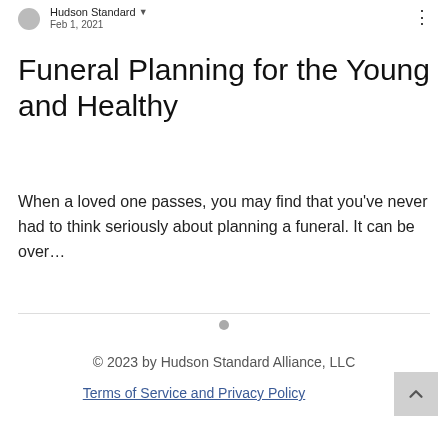Hudson Standard · Feb 1, 2021
Funeral Planning for the Young and Healthy
When a loved one passes, you may find that you've never had to think seriously about planning a funeral. It can be over...
© 2023 by Hudson Standard Alliance, LLC
Terms of Service and Privacy Policy